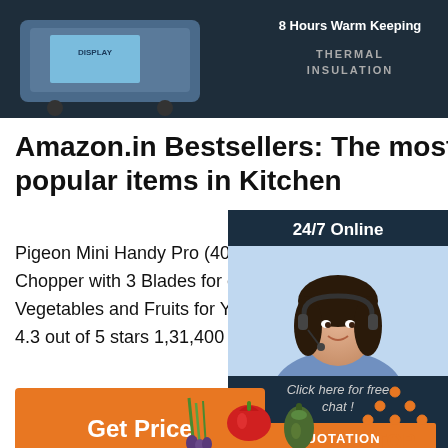[Figure (photo): Top banner showing a kitchen appliance (food warmer/thermal insulation device) on dark background with text '8 Hours Warm Keeping' and 'THERMAL INSULATION']
Amazon.in Bestsellers: The most popular items in Kitchen
Pigeon Mini Handy Pro (400 ml) and Combo Chopper with 3 Blades for effortlessly Chopping Vegetables and Fruits for Your Kitchen 4.3 out of 5 stars 1,31,400 ₹229.00 - ₹
[Figure (photo): 24/7 Online customer service chat widget with agent photo and 'Click here for free chat!' text and QUOTATION button]
Get Price
[Figure (illustration): TOP button with orange dots arranged in triangle above orange text 'TOP']
[Figure (photo): Vegetables at bottom of page: green onion, red pepper, zucchini]